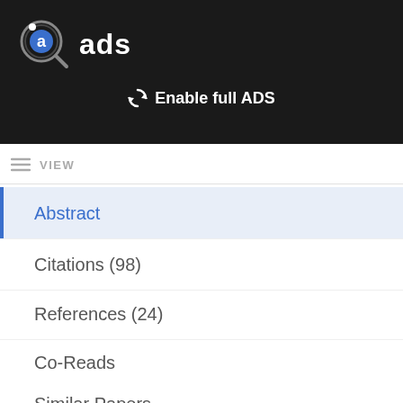[Figure (logo): ADS (Astrophysics Data System) logo with magnifying glass icon and letter 'a' in blue circle, followed by text 'ads' in white on dark background]
↻ Enable full ADS
VIEW
Abstract
Citations (98)
References (24)
Co-Reads
Similar Papers
Volume Content
Graphics